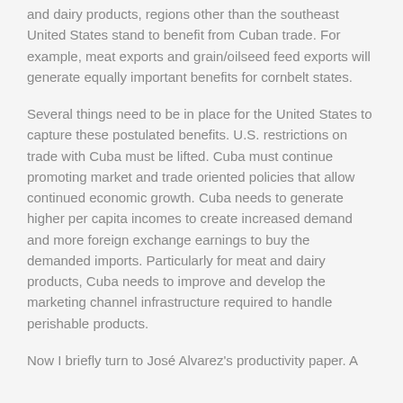and dairy products, regions other than the southeast United States stand to benefit from Cuban trade. For example, meat exports and grain/oilseed feed exports will generate equally important benefits for cornbelt states.
Several things need to be in place for the United States to capture these postulated benefits. U.S. restrictions on trade with Cuba must be lifted. Cuba must continue promoting market and trade oriented policies that allow continued economic growth. Cuba needs to generate higher per capita incomes to create increased demand and more foreign exchange earnings to buy the demanded imports. Particularly for meat and dairy products, Cuba needs to improve and develop the marketing channel infrastructure required to handle perishable products.
Now I briefly turn to José Alvarez's productivity paper. A